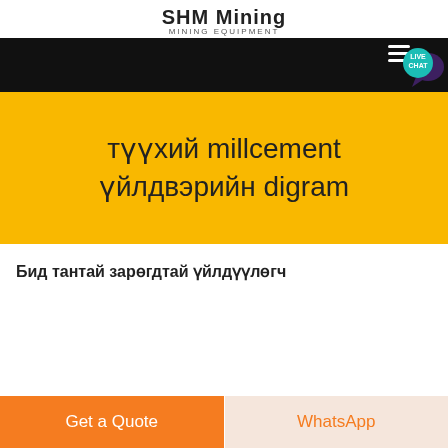SHM Mining
MINING EQUIPMENT
[Figure (screenshot): Black hero banner with live chat badge (teal speech bubble with 'LIVE CHAT' text) in the top right corner]
түүхий millcement үйлдвэрийн digram
Бид тантай зарөгдтай үйлдүүлөгч
Get a Quote
WhatsApp